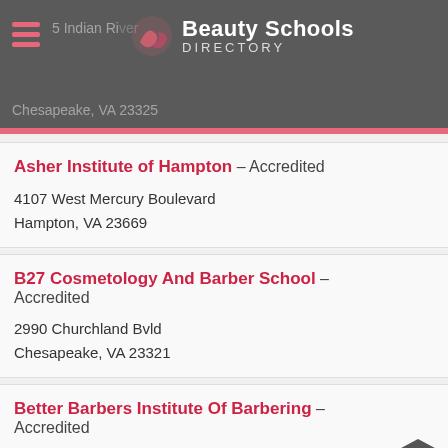Beauty Schools DIRECTORY — 5 Indian River Rd, Chesapeake, VA 23325
Asher Institute of Hampton – Accredited
4107 West Mercury Boulevard
Hampton, VA 23669
B27 Cosmetology And Barber School – Accredited
2990 Churchland Bvld
Chesapeake, VA 23321
Better Barbers Institute Of Barbering – Accredited
1917 South Independence Boulevard Suite 102